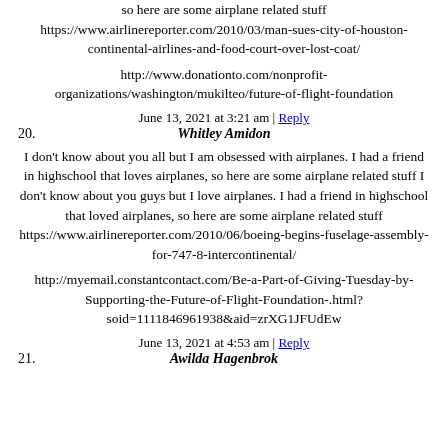so here are some airplane related stuff https://www.airlinereporter.com/2010/03/man-sues-city-of-houston-continental-airlines-and-food-court-over-lost-coat/
http://www.donationto.com/nonprofit-organizations/washington/mukilteo/future-of-flight-foundation
June 13, 2021 at 3:21 am | Reply
20. Whitley Amidon
I don't know about you all but I am obsessed with airplanes. I had a friend in highschool that loves airplanes, so here are some airplane related stuff I don't know about you guys but I love airplanes. I had a friend in highschool that loved airplanes, so here are some airplane related stuff https://www.airlinereporter.com/2010/06/boeing-begins-fuselage-assembly-for-747-8-intercontinental/
http://myemail.constantcontact.com/Be-a-Part-of-Giving-Tuesday-by-Supporting-the-Future-of-Flight-Foundation-.html?soid=1111846961938&aid=zrXG1JFUdEw
June 13, 2021 at 4:53 am | Reply
21. Awilda Hagenbrok